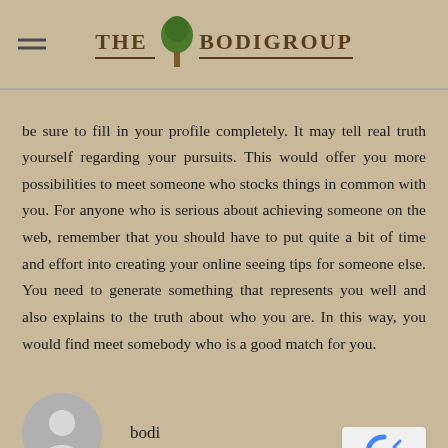THE BODI GROUP
be sure to fill in your profile completely. It may tell real truth yourself regarding your pursuits. This would offer you more possibilities to meet someone who stocks things in common with you. For anyone who is serious about achieving someone on the web, remember that you should have to put quite a bit of time and effort into creating your online seeing tips for someone else. You need to generate something that represents you well and also explains to the truth about who you are. In this way, you would find meet somebody who is a good match for you.
bodi